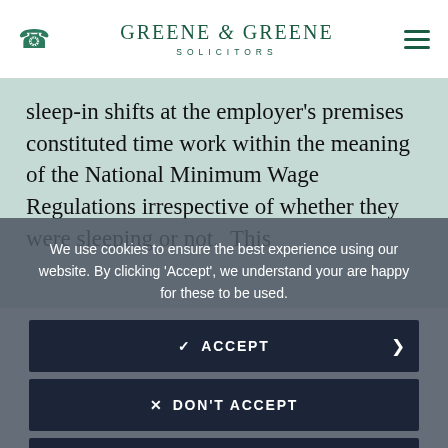GREENE & GREENE SOLICITORS
sleep-in shifts at the employer's premises constituted time work within the meaning of the National Minimum Wage Regulations irrespective of whether they were sleeping or not.  This
We use cookies to ensure the best experience using our website. By clicking 'Accept', we understand your are happy for these to be used.
✓ ACCEPT
✕ DON'T ACCEPT
🛡 COOKIE POLICY